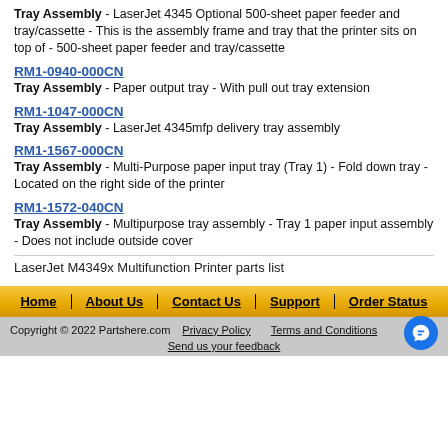Tray Assembly - LaserJet 4345 Optional 500-sheet paper feeder and tray/cassette - This is the assembly frame and tray that the printer sits on top of - 500-sheet paper feeder and tray/cassette
RM1-0940-000CN
Tray Assembly - Paper output tray - With pull out tray extension
RM1-1047-000CN
Tray Assembly - LaserJet 4345mfp delivery tray assembly
RM1-1567-000CN
Tray Assembly - Multi-Purpose paper input tray (Tray 1) - Fold down tray - Located on the right side of the printer
RM1-1572-040CN
Tray Assembly - Multipurpose tray assembly - Tray 1 paper input assembly - Does not include outside cover
LaserJet M4349x Multifunction Printer parts list
Home | About Us | Contact Us | Support | Order Status
Copyright © 2022 Partshere.com   Privacy Policy   Terms and Conditions
Send us your feedback